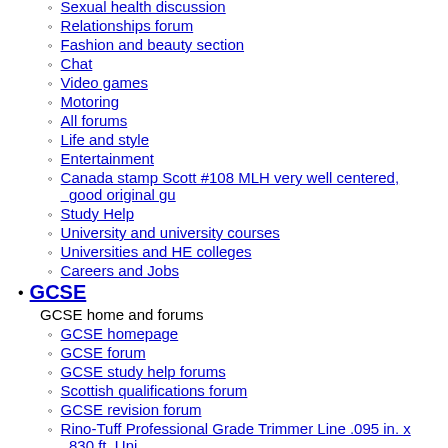Sexual health discussion
Relationships forum
Fashion and beauty section
Chat
Video games
Motoring
All forums
Life and style
Entertainment
Canada stamp Scott #108 MLH very well centered, good original gu
Study Help
University and university courses
Universities and HE colleges
Careers and Jobs
GCSE
GCSE home and forums
GCSE homepage
GCSE forum
GCSE study help forums
Scottish qualifications forum
GCSE revision forum
Rino-Tuff Professional Grade Trimmer Line .095 in. x 830 ft. Uni
Guides
Revision help